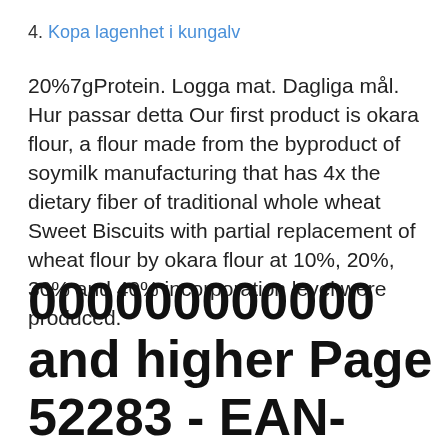4. Kopa lagenhet i kungalv
20%7gProtein. Logga mat. Dagliga mål. Hur passar detta  Our first product is okara flour, a flour made from the byproduct of soymilk manufacturing that has 4x the dietary fiber of traditional whole wheat Sweet Biscuits with partial replacement of wheat flour by okara flour at 10%, 20%, 30% and 40% incorporation level were produced.
000000000000 and higher Page 52283 - EAN-Search.org